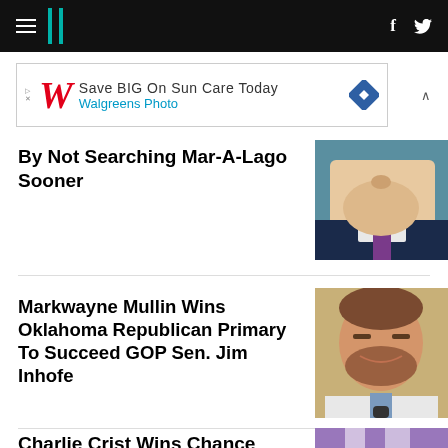HuffPost navigation
[Figure (screenshot): Walgreens Photo advertisement banner: Save BIG On Sun Care Today]
By Not Searching Mar-A-Lago Sooner
[Figure (photo): Close-up photo of a man's face - chin and lower face visible, wearing a suit]
Markwayne Mullin Wins Oklahoma Republican Primary To Succeed GOP Sen. Jim Inhofe
[Figure (photo): Photo of Markwayne Mullin smiling, wearing a white shirt and blue tie]
Charlie Crist Wins Chance
[Figure (photo): Photo with purple lighting and bright lights]